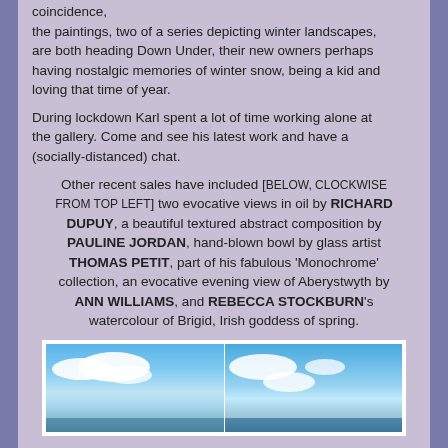coincidence, the paintings, two of a series depicting winter landscapes, are both heading Down Under, their new owners perhaps having nostalgic memories of winter snow, being a kid and loving that time of year.
During lockdown Karl spent a lot of time working alone at the gallery. Come and see his latest work and have a (socially-distanced) chat.
Other recent sales have included [BELOW, CLOCKWISE FROM TOP LEFT] two evocative views in oil by RICHARD DUPUY, a beautiful textured abstract composition by PAULINE JORDAN, hand-blown bowl by glass artist THOMAS PETIT, part of his fabulous 'Monochrome' collection, an evocative evening view of Aberystwyth by ANN WILLIAMS, and REBECCA STOCKBURN's watercolour of Brigid, Irish goddess of spring.
[Figure (photo): Two side-by-side paintings of sky scenes with clouds over water, by Richard Dupuy]